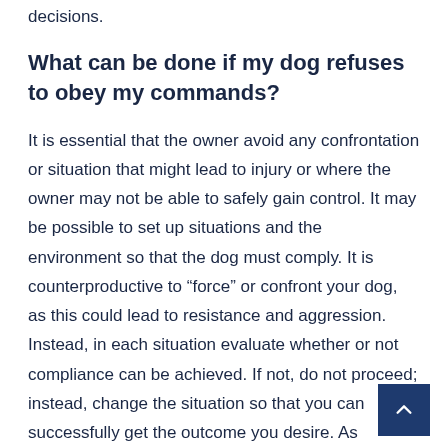decisions.
What can be done if my dog refuses to obey my commands?
It is essential that the owner avoid any confrontation or situation that might lead to injury or where the owner may not be able to safely gain control. It may be possible to set up situations and the environment so that the dog must comply. It is counterproductive to “force” or confront your dog, as this could lead to resistance and aggression. Instead, in each situation evaluate whether or not compliance can be achieved. If not, do not proceed; instead, change the situation so that you can successfully get the outcome you desire. As mentioned, you can achieve more immediate